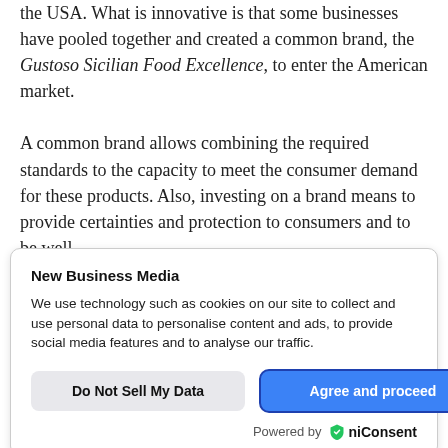the USA. What is innovative is that some businesses have pooled together and created a common brand, the Gustoso Sicilian Food Excellence, to enter the American market.

A common brand allows combining the required standards to the capacity to meet the consumer demand for these products. Also, investing on a brand means to provide certainties and protection to consumers and to be well
New Business Media
We use technology such as cookies on our site to collect and use personal data to personalise content and ads, to provide social media features and to analyse our traffic.
Do Not Sell My Data | Agree and proceed
Powered by UniConsent